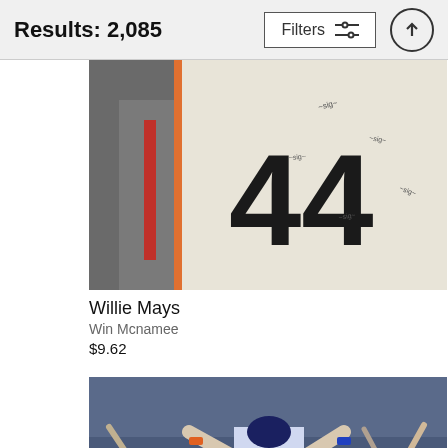Results: 2,085
Filters
[Figure (photo): Baseball jersey with number 44, autographed, being held up. Two people visible, one in a suit.]
Willie Mays
Win Mcnamee
$9.62
[Figure (photo): Baseball player number 10 in Los Angeles Dodgers uniform celebrating with arms raised, crowd cheering in background, NLCS game.]